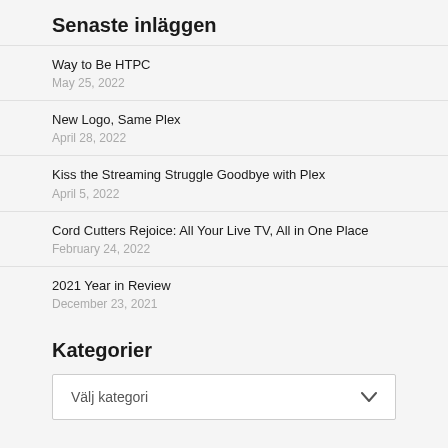Senaste inläggen
Way to Be HTPC
May 25, 2022
New Logo, Same Plex
April 28, 2022
Kiss the Streaming Struggle Goodbye with Plex
April 5, 2022
Cord Cutters Rejoice: All Your Live TV, All in One Place
February 24, 2022
2021 Year in Review
December 23, 2021
Kategorier
Välj kategori